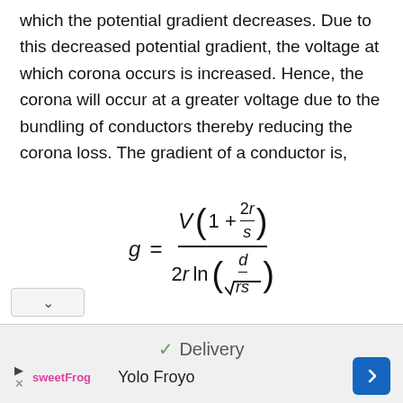which the potential gradient decreases. Due to this decreased potential gradient, the voltage at which corona occurs is increased. Hence, the corona will occur at a greater voltage due to the bundling of conductors thereby reducing the corona loss. The gradient of a conductor is,